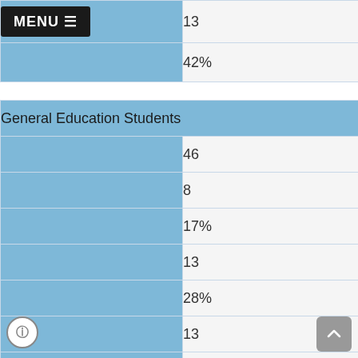| Category | Value |
| --- | --- |
| [MENU] | 13 |
|  | 42% |
| General Education Students |  |
|  | 46 |
|  | 8 |
|  | 17% |
|  | 13 |
|  | 28% |
|  | 13 |
|  | 28% |
|  | 12 |